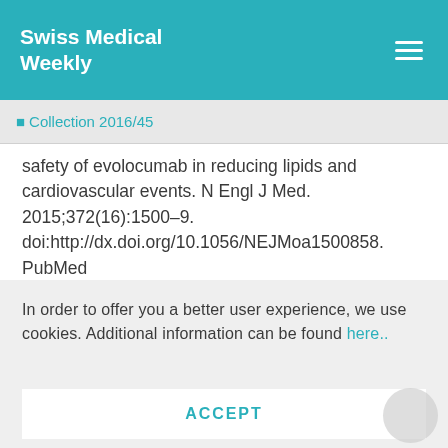Swiss Medical Weekly
Collection 2016/45
safety of evolocumab in reducing lipids and cardiovascular events. N Engl J Med. 2015;372(16):1500–9. doi:http://dx.doi.org/10.1056/NEJMoa1500858. PubMed
36. Robinson JC. Farnier M. Krempf M. Ral...
In order to offer you a better user experience, we use cookies. Additional information can be found here..
ACCEPT